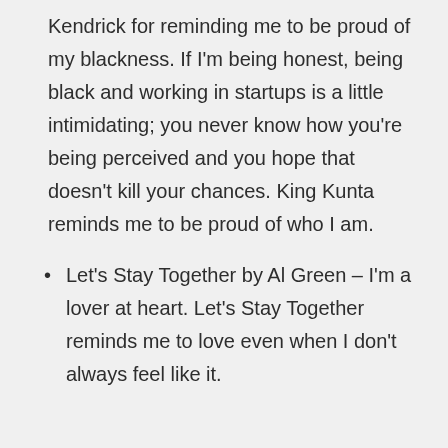Kendrick for reminding me to be proud of my blackness. If I'm being honest, being black and working in startups is a little intimidating; you never know how you're being perceived and you hope that doesn't kill your chances. King Kunta reminds me to be proud of who I am.
Let's Stay Together by Al Green – I'm a lover at heart. Let's Stay Together reminds me to love even when I don't always feel like it.